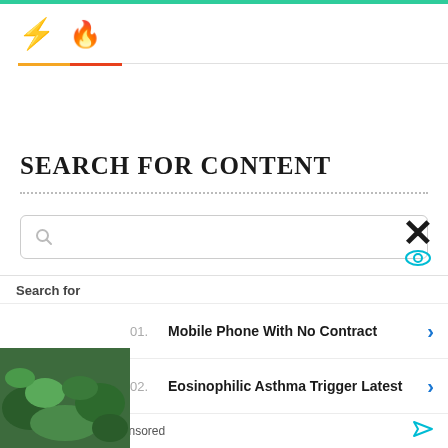⚡ 🔥
SEARCH FOR CONTENT
[Figure (screenshot): Search input box with magnifying glass icon]
[Figure (screenshot): Ad panel with close X button, eye icon, Search for label, two sponsored results: 01. Mobile Phone With No Contract, 02. Eosinophilic Asthma Trigger Latest, Yahoo! Search Sponsored footer, and a green plant thumbnail image on the left]
01. Mobile Phone With No Contract
02. Eosinophilic Asthma Trigger Latest
Yahoo! Search | Sponsored